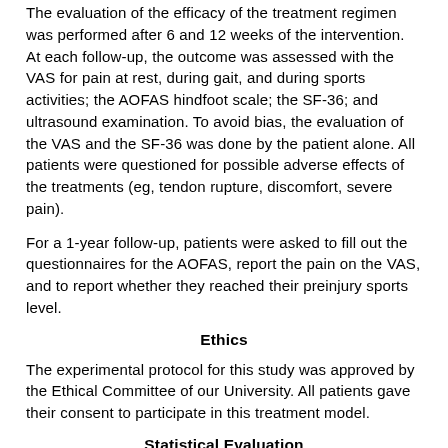The evaluation of the efficacy of the treatment regimen was performed after 6 and 12 weeks of the intervention. At each follow-up, the outcome was assessed with the VAS for pain at rest, during gait, and during sports activities; the AOFAS hindfoot scale; the SF-36; and ultrasound examination. To avoid bias, the evaluation of the VAS and the SF-36 was done by the patient alone. All patients were questioned for possible adverse effects of the treatments (eg, tendon rupture, discomfort, severe pain).
For a 1-year follow-up, patients were asked to fill out the questionnaires for the AOFAS, report the pain on the VAS, and to report whether they reached their preinjury sports level.
Ethics
The experimental protocol for this study was approved by the Ethical Committee of our University. All patients gave their consent to participate in this treatment model.
Statistical Evaluation
Commercial software (StatView 5.0, SAS Institute, Cary, NC) was used for all statistical calculations. A repeated-measures analysis (3 groups by 4 measurements) was performed. The results are expressed as mean